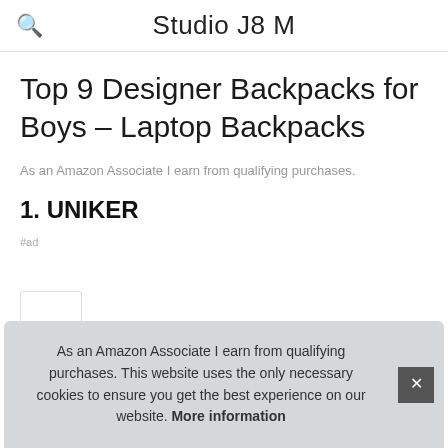Studio J8 M
Top 9 Designer Backpacks for Boys – Laptop Backpacks
As an Amazon Associate I earn from qualifying purchases.
1. UNIKER
As an Amazon Associate I earn from qualifying purchases. This website uses the only necessary cookies to ensure you get the best experience on our website. More information